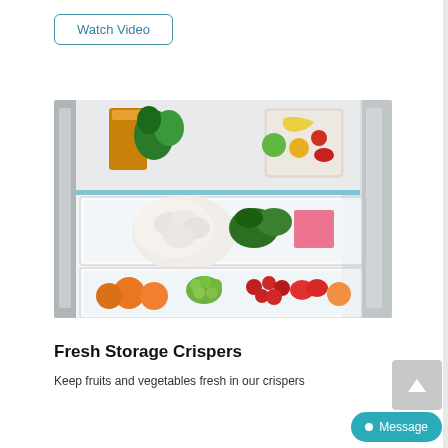Watch Video
[Figure (photo): Open refrigerator crisper drawers showing fresh fruits and vegetables including cauliflower, oranges, grapes, berries, green vegetables, and food containers arranged in clear glass pull-out drawers]
Fresh Storage Crispers
Keep fruits and vegetables fresh in our crispers